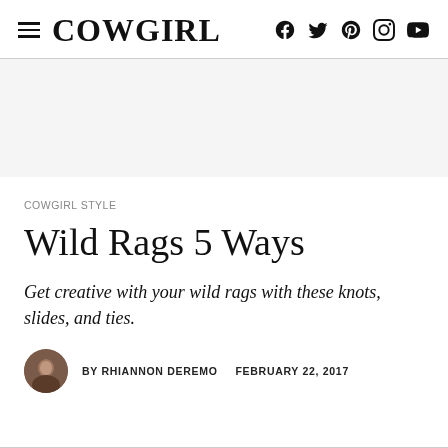COWGIRL
[Figure (other): Advertisement / banner area (gray placeholder)]
COWGIRL STYLE
Wild Rags 5 Ways
Get creative with your wild rags with these knots, slides, and ties.
BY RHIANNON DEREMO   FEBRUARY 22, 2017